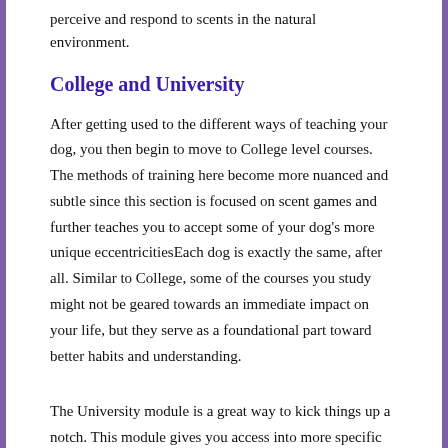perceive and respond to scents in the natural environment.
College and University
After getting used to the different ways of teaching your dog, you then begin to move to College level courses. The methods of training here become more nuanced and subtle since this section is focused on scent games and further teaches you to accept some of your dog’s more unique eccentricitiesEach dog is exactly the same, after all. Similar to College, some of the courses you study might not be geared towards an immediate impact on your life, but they serve as a foundational part toward better habits and understanding.
The University module is a great way to kick things up a notch. This module gives you access into more specific actions and commands that are normally reserved for professional dog training. Although some of these ideas may be advanced, casual dog owners shouldn’t